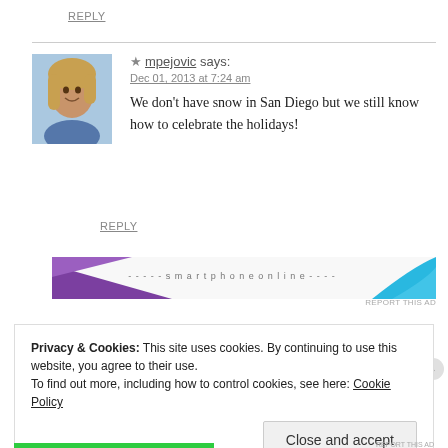REPLY
[Figure (photo): Avatar photo of mpejovic, a woman with blonde hair smiling]
★ mpejovic says:
Dec 01, 2013 at 7:24 am
We don't have snow in San Diego but we still know how to celebrate the holidays!
REPLY
[Figure (screenshot): Advertisement banner with purple triangle shape on left and blue curved shape on right, with dashed text in center reading 'smartphone online'. Small 'REPORT THIS AD' text below right.]
Privacy & Cookies: This site uses cookies. By continuing to use this website, you agree to their use.
To find out more, including how to control cookies, see here: Cookie Policy
Close and accept